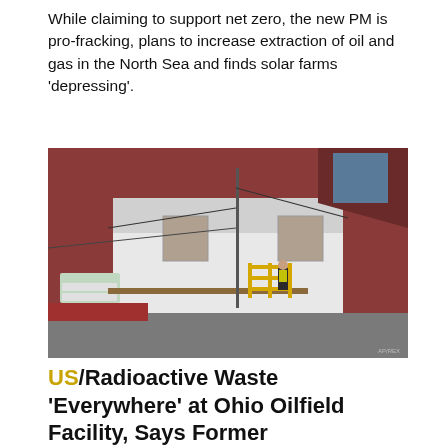While claiming to support net zero, the new PM is pro-fracking, plans to increase extraction of oil and gas in the North Sea and finds solar farms 'depressing'.
[Figure (photo): Exterior of an industrial oilfield facility building with red and white walls. A worker in a high-visibility jacket stands on an elevated walkway with yellow railings. Signs are visible on the building facade.]
US/Radioactive Waste 'Everywhere' at Ohio Oilfield Facility, Says Former